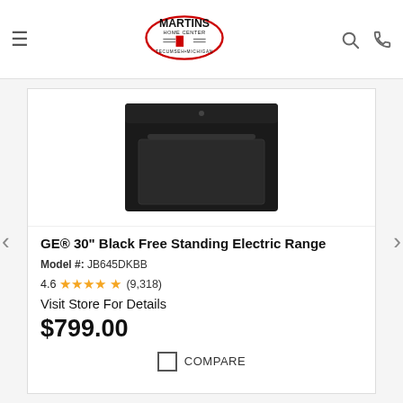Martins Home Center — Tecumseh, Michigan
[Figure (photo): GE black free standing electric range product photo on white background]
GE® 30" Black Free Standing Electric Range
Model #: JB645DKBB
4.6 ★★★★★ (9,318)
Visit Store For Details
$799.00
COMPARE